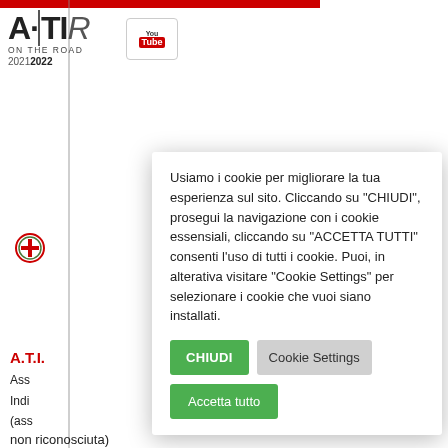[Figure (logo): ATIR On The Road 2021 2022 logo with YouTube badge and vertical line graphic]
[Figure (logo): Milan coat of arms emblem with red cross]
Usiamo i cookie per migliorare la tua esperienza sul sito. Cliccando su "CHIUDI", prosegui la navigazione con i cookie essensiali, cliccando su "ACCETTA TUTTI" consenti l'uso di tutti i cookie. Puoi, in alterativa visitare "Cookie Settings" per selezionare i cookie che vuoi siano installati.
CHIUDI | Cookie Settings | Accetta tutto (buttons)
A.T.I.
Ass
Indi
(ass
non riconosciuta)